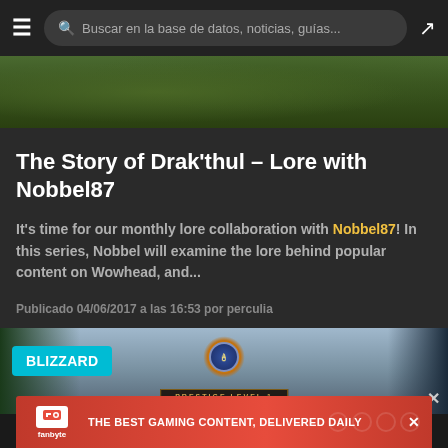Buscar en la base de datos, noticias, guías...
[Figure (screenshot): Game screenshot showing a dark fantasy landscape with green foliage]
The Story of Drak'thul - Lore with Nobbel87
It's time for our monthly lore collaboration with Nobbel87! In this series, Nobbel will examine the lore behind popular content on Wowhead, and...
Publicado 04/06/2017 a las 16:53 por perculia
[Figure (screenshot): Game screenshot showing a Prestige Level 1 badge with golden glowing emblem, BLIZZARD badge in cyan top-left]
[Figure (screenshot): Fanbyte advertisement banner: THE BEST GAMING CONTENT, DELIVERED DAILY]